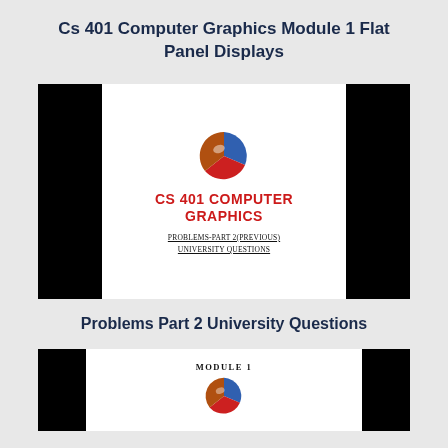Cs 401 Computer Graphics Module 1 Flat Panel Displays
[Figure (screenshot): Course slide thumbnail showing CS 401 Computer Graphics logo with colorful sphere icon, red bold title text 'CS 401 COMPUTER GRAPHICS', subtitle 'PROBLEMS-PART 2(PREVIOUS) UNIVERSITY QUESTIONS', flanked by black bars on left and right.]
Problems Part 2 University Questions
[Figure (screenshot): Course slide thumbnail showing MODULE 1 label with colorful sphere logo icon, flanked by black bars on left and right, partially cropped at page bottom.]